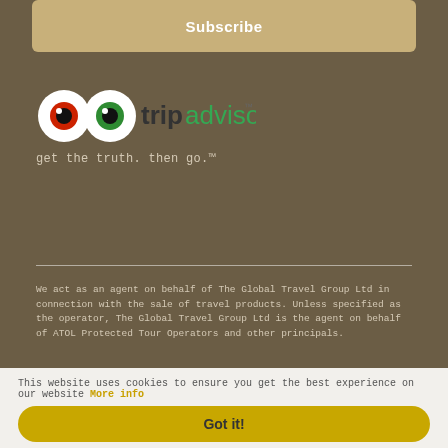Subscribe
[Figure (logo): TripAdvisor logo with owl eyes and text 'tripadvisor get the truth. then go.']
We act as an agent on behalf of The Global Travel Group Ltd in connection with the sale of travel products. Unless specified as the operator, The Global Travel Group Ltd is the agent on behalf of ATOL Protected Tour Operators and other principals.
[Figure (logo): Certification and protection badges]
This website uses cookies to ensure you get the best experience on our website More info
Got it!